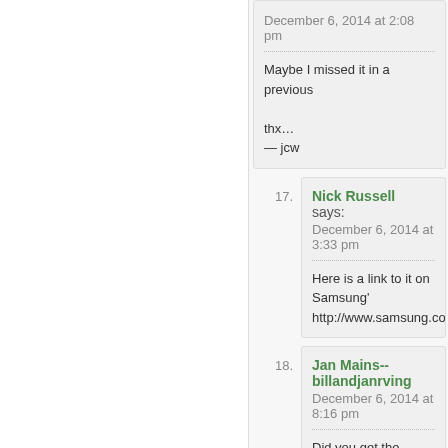December 6, 2014 at 2:08 pm
Maybe I missed it in a previous
thx…
— jcw
17. Nick Russell says:
December 6, 2014 at 3:33 pm
Here is a link to it on Samsung'
http://www.samsung.com/us/ap
18. Jan Mains--billandjanrving
December 6, 2014 at 8:16 pm
Did you get the model with two
19. Jan Mains--billandjanrving